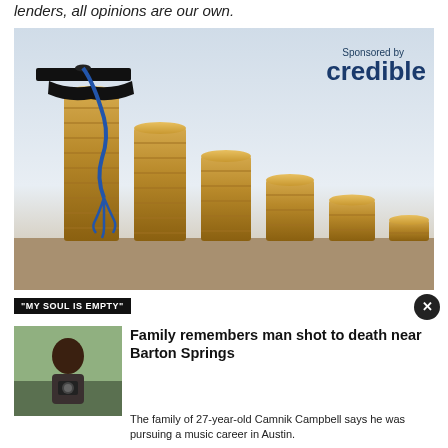lenders, all opinions are our own.
[Figure (photo): Advertisement photo showing stacks of coins in descending height with a graduation cap and blue tassel on the tallest stack. Sponsored by Credible logo in top right corner.]
"MY SOUL IS EMPTY"
[Figure (photo): Thumbnail photo of a man holding a camera outdoors.]
Family remembers man shot to death near Barton Springs
The family of 27-year-old Camnik Campbell says he was pursuing a music career in Austin.